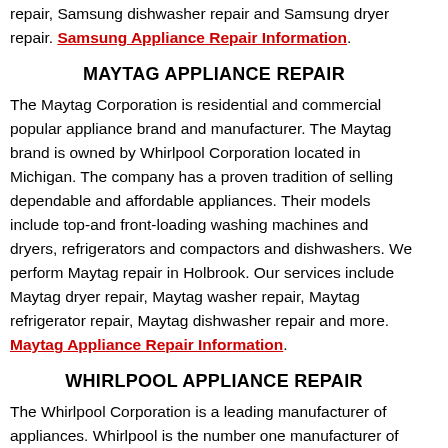repair, Samsung dishwasher repair and Samsung dryer repair. Samsung Appliance Repair Information.
MAYTAG APPLIANCE REPAIR
The Maytag Corporation is residential and commercial popular appliance brand and manufacturer. The Maytag brand is owned by Whirlpool Corporation located in Michigan. The company has a proven tradition of selling dependable and affordable appliances. Their models include top-and front-loading washing machines and dryers, refrigerators and compactors and dishwashers. We perform Maytag repair in Holbrook. Our services include Maytag dryer repair, Maytag washer repair, Maytag refrigerator repair, Maytag dishwasher repair and more. Maytag Appliance Repair Information.
WHIRLPOOL APPLIANCE REPAIR
The Whirlpool Corporation is a leading manufacturer of appliances. Whirlpool is the number one manufacturer of home appliances across the globe. The corporation...